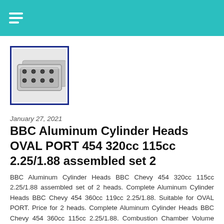navigation menu header
[Figure (photo): Product photo of BBC Aluminum Cylinder Heads, shown as a metallic silver/chrome engine part pair, displayed with a dark navy blue border frame on white background.]
January 27, 2021
BBC Aluminum Cylinder Heads OVAL PORT 454 320cc 115cc 2.25/1.88 assembled set 2
BBC Aluminum Cylinder Heads BBC Chevy 454 320cc 115cc 2.25/1.88 assembled set of 2 heads. Complete Aluminum Cylinder Heads BBC Chevy 454 360cc 119cc 2.25/1.88. Suitable for OVAL PORT. Price for 2 heads. Complete Aluminum Cylinder Heads BBC Chevy 454 360cc 115cc 2.25/1.88. Combustion Chamber Volume (cc). Intake Runner Volume (cc). Exhaust Runner Volume (cc). Intake Valve Diameter (in). Exhaust Valve Diameter (in). Valve Stem Seals Included. Rocker Arm Studs